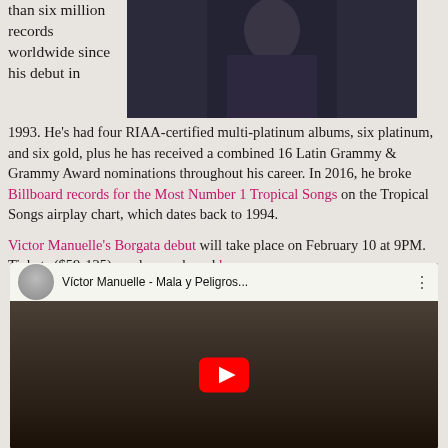than six million records worldwide since his debut in 1993. He's had four RIAA-certified multi-platinum albums, six platinum, and six gold, plus he has received a combined 16 Latin Grammy & Grammy Award nominations throughout his career. In 2016, he broke Billboard records for the Most Number 1 Tropical Songs on the Tropical Songs airplay chart, which dates back to 1994.
[Figure (photo): Photo of Victor Manuelle, a man in dark clothing against a dark background]
Victor Manuelle's Borgata debut will take place on February 10 at 9PM. Tickets ($59-125) can be purchased here.
[Figure (screenshot): YouTube video player showing 'Víctor Manuelle - Mala y Peligros...' with a thumbnail of a man smiling and a red play button overlay]